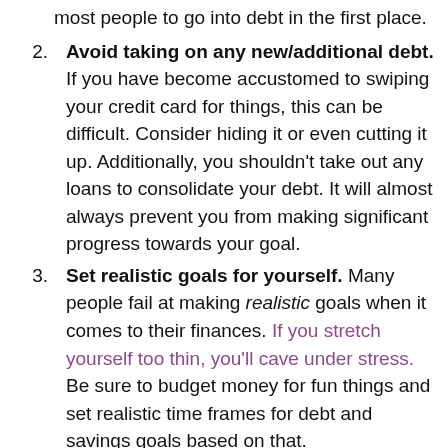most people to go into debt in the first place.
Avoid taking on any new/additional debt. If you have become accustomed to swiping your credit card for things, this can be difficult. Consider hiding it or even cutting it up. Additionally, you shouldn't take out any loans to consolidate your debt. It will almost always prevent you from making significant progress towards your goal.
Set realistic goals for yourself. Many people fail at making realistic goals when it comes to their finances. If you stretch yourself too thin, you'll cave under stress. Be sure to budget money for fun things and set realistic time frames for debt and savings goals based on that.
Contact your lenders if you're having trouble paying. We've all had issues making payments at some point. The best thing you can do if you're